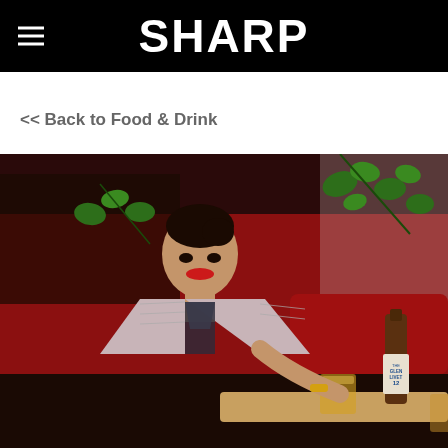SHARP
<< Back to Food & Drink
[Figure (photo): Woman in houndstooth blazer and sheer top seated at a table in a red-lit lounge setting with green ivy, holding a glass of whisky. A bottle of The Glenlivet 12 is visible on the table.]